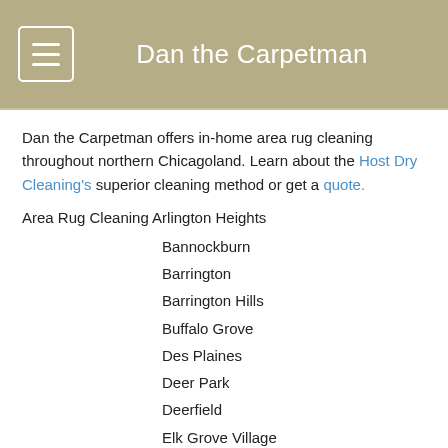Dan the Carpetman
Dan the Carpetman offers in-home area rug cleaning throughout northern Chicagoland. Learn about the Host Dry Cleaning's superior cleaning method or get a quote.
Area Rug Cleaning Arlington Heights
Bannockburn
Barrington
Barrington Hills
Buffalo Grove
Des Plaines
Deer Park
Deerfield
Elk Grove Village
Glencoe
Glenview
Hawthorn Woods
Highland Park
Hoffman Estates